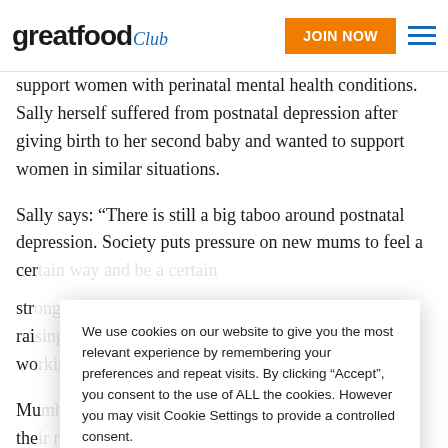great food club | JOIN NOW
support women with perinatal mental health conditions. Sally herself suffered from postnatal depression after giving birth to her second baby and wanted to support women in similar situations.
Sally says: “There is still a big taboo around postnatal depression. Society puts pressure on new mums to feel a cer[tain way and be a certain type of mother)... str[ong...] rai[sing...] wo[men...]
Mu[mhood...] ve the[...] ge[t...] re in the UK. You can order here. Once these have been
We use cookies on our website to give you the most relevant experience by remembering your preferences and repeat visits. By clicking “Accept”, you consent to the use of ALL the cookies. However you may visit Cookie Settings to provide a controlled consent.
Cookie settings | ACCEPT